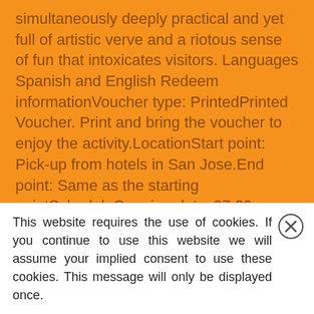simultaneously deeply practical and yet full of artistic verve and a riotous sense of fun that intoxicates visitors. Languages Spanish and English Redeem informationVoucher type: PrintedPrinted Voucher. Print and bring the voucher to enjoy the activity.LocationStart point: Pick-up from hotels in San Jose.End point: Same as the starting pointScheduleOpening dates07:00 - 13:30Duration: 6,5 HoursGuide optionsGuide type: Guide
LOCATION
[Figure (map): Street map showing area around National Museum of Costa Rica in San Jose, with CUBILLOS neighborhood label, Av 9, Av 1 labels, bus stop icons, and a location pin marker.]
This website requires the use of cookies. If you continue to use this website we will assume your implied consent to use these cookies. This message will only be displayed once.